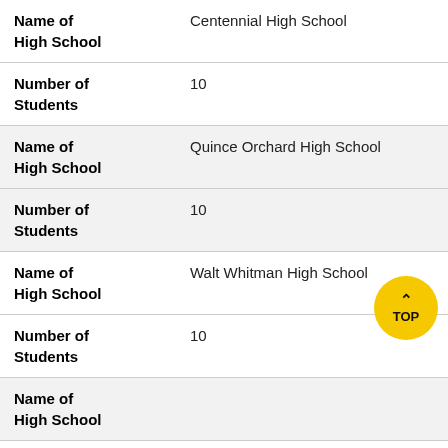| Name of High School | Centennial High School |
| Number of Students | 10 |
| Name of High School | Quince Orchard High School |
| Number of Students | 10 |
| Name of High School | Walt Whitman High School |
| Number of Students | 10 |
| Name of High School |  |